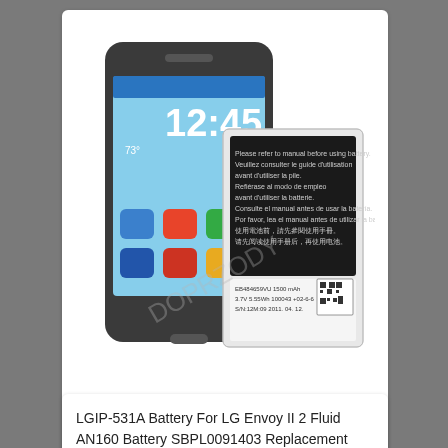[Figure (photo): A smartphone showing a home screen with time 12:45, alongside a replacement battery pack with labels and QR code.]
Price: 7,00$ 9,80$
Buy now!
More info
LGIP-531A Battery For LG Envoy II 2 Fluid AN160 Battery SBPL0091403 Replacement Repair Part